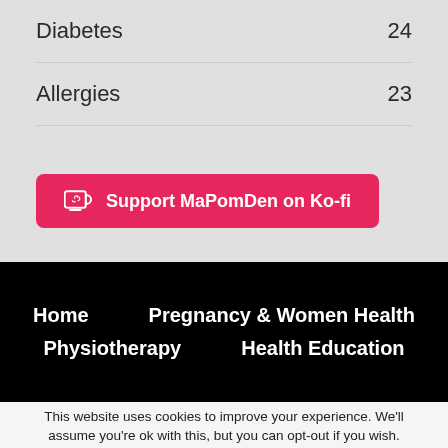Diabetes  24
Allergies  23
[Figure (other): Ko-fi support button: 'Support MaPomDen on Ko-fi' with cup icon, pink/red background]
Home  Pregnancy & Women Health  Physiotherapy  Health Education
This website uses cookies to improve your experience. We'll assume you're ok with this, but you can opt-out if you wish.
Accept  Read More